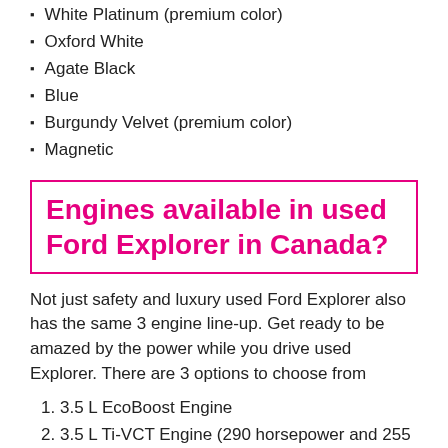White Platinum (premium color)
Oxford White
Agate Black
Blue
Burgundy Velvet (premium color)
Magnetic
Engines available in used Ford Explorer in Canada?
Not just safety and luxury used Ford Explorer also has the same 3 engine line-up. Get ready to be amazed by the power while you drive used Explorer. There are 3 options to choose from
3.5 L EcoBoost Engine
3.5 L Ti-VCT Engine (290 horsepower and 255 lb.-ft)
2.3 L EcoBoost Engine (280 horsepower and 310 lb.-ft. of torque)